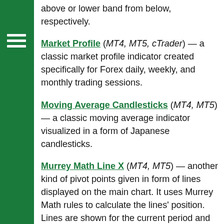above or lower band from below, respectively.
Market Profile (MT4, MT5, cTrader) — a classic market profile indicator created specifically for Forex daily, weekly, and monthly trading sessions.
Moving Average Candlesticks (MT4, MT5) — a classic moving average indicator visualized in a form of Japanese candlesticks.
Murrey Math Line X (MT4, MT5) — another kind of pivot points given in form of lines displayed on the main chart. It uses Murrey Math rules to calculate the lines' position. Lines are shown for the current period and represent the support and resistance levels.
Not So Squeezy (MT4) — a set of indicators for the Not So Squeezy trading strategy.